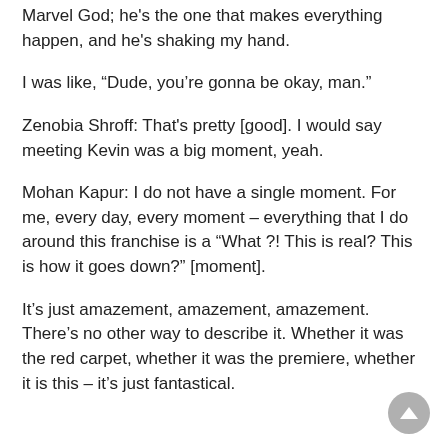Marvel God; he's the one that makes everything happen, and he's shaking my hand.
I was like, “Dude, you’re gonna be okay, man.”
Zenobia Shroff: That's pretty [good]. I would say meeting Kevin was a big moment, yeah.
Mohan Kapur: I do not have a single moment. For me, every day, every moment – everything that I do around this franchise is a “What ?! This is real? This is how it goes down?” [moment].
It’s just amazement, amazement, amazement. There’s no other way to describe it. Whether it was the red carpet, whether it was the premiere, whether it is this – it’s just fantastical.